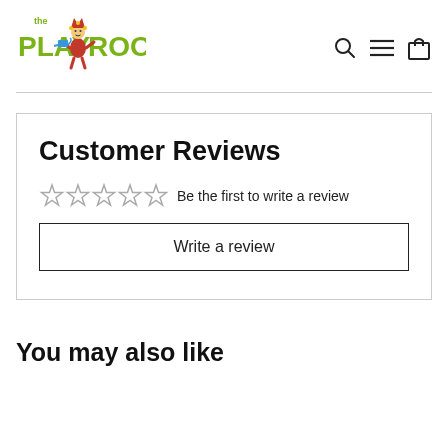[Figure (logo): The Play Room logo with colorful jester mascot character, 'the' in small green text above 'PLAY ROOM' in large green and red block letters]
[Figure (other): Navigation icons: magnifying glass (search), hamburger menu (three lines), shopping bag]
Customer Reviews
☆☆☆☆☆ Be the first to write a review
Write a review
You may also like